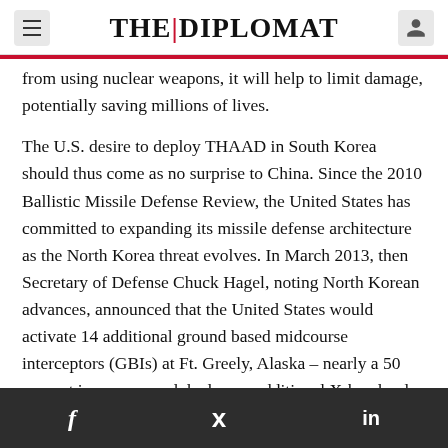THE | DIPLOMAT
from using nuclear weapons, it will help to limit damage, potentially saving millions of lives.
The U.S. desire to deploy THAAD in South Korea should thus come as no surprise to China. Since the 2010 Ballistic Missile Defense Review, the United States has committed to expanding its missile defense architecture as the North Korea threat evolves. In March 2013, then Secretary of Defense Chuck Hagel, noting North Korean advances, announced that the United States would activate 14 additional ground based midcourse interceptors (GBIs) at Ft. Greely, Alaska – nearly a 50 percent increase – and deploy an additional X-band radar in Japan (which arrived at the Kyogamisaki
f  twitter  in